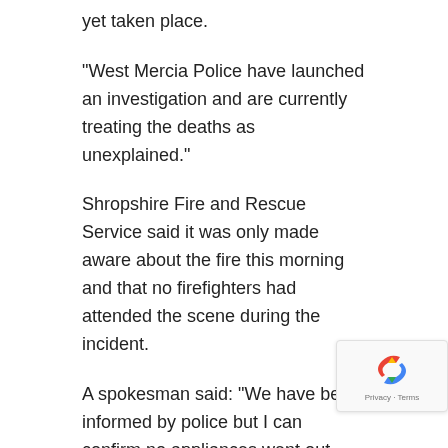yet taken place.
“West Mercia Police have launched an investigation and are currently treating the deaths as unexplained.”
Shropshire Fire and Rescue Service said it was only made aware about the fire this morning and that no firefighters had attended the scene during the incident.
A spokesman said: “We have been informed by police but I can confirm no appliances went out. The fire service wasn’t called last night.
“We’ve just been informed this morning and will be going to the scene as part of the investigation.